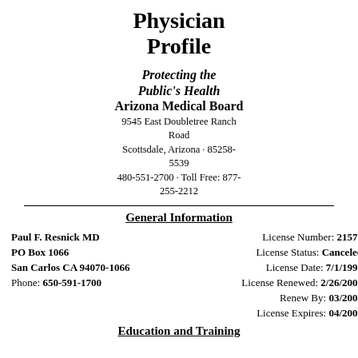Physician Profile
Protecting the Public's Health
Arizona Medical Board
9545 East Doubletree Ranch Road
Scottsdale, Arizona · 85258-5539
480-551-2700 · Toll Free: 877-255-2212
General Information
| Paul F. Resnick MD | License Number: 21577 |
| PO Box 1066 | License Status: Canceled |
| San Carlos CA 94070-1066 | License Date: 7/1/1993 |
| Phone: 650-591-1700 | License Renewed: 2/26/2001 |
|  | Renew By: 03/2003 |
|  | License Expires: 04/2003 |
Education and Training